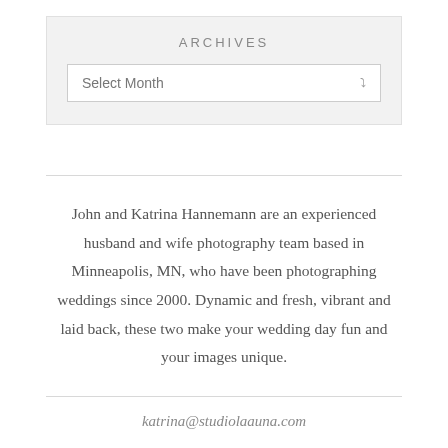ARCHIVES
[Figure (screenshot): A dropdown select widget showing 'Select Month' with a downward chevron arrow, on a light gray background.]
John and Katrina Hannemann are an experienced husband and wife photography team based in Minneapolis, MN, who have been photographing weddings since 2000. Dynamic and fresh, vibrant and laid back, these two make your wedding day fun and your images unique.
katrina@studiolaauna.com